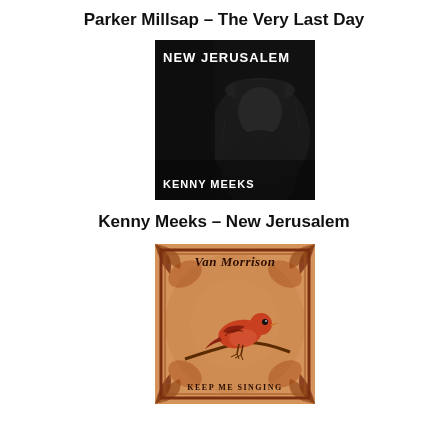Parker Millsap – The Very Last Day
[Figure (photo): Album cover for Kenny Meeks – New Jerusalem: black and white image showing a man in a hat with text NEW JERUSALEM at top and KENNY MEEKS at bottom]
Kenny Meeks – New Jerusalem
[Figure (photo): Album cover for Van Morrison – Keep Me Singing: ornate vintage design with a red-orange bird on a branch, decorative border, VAN MORRISON text at top, KEEP ME SINGING at bottom]